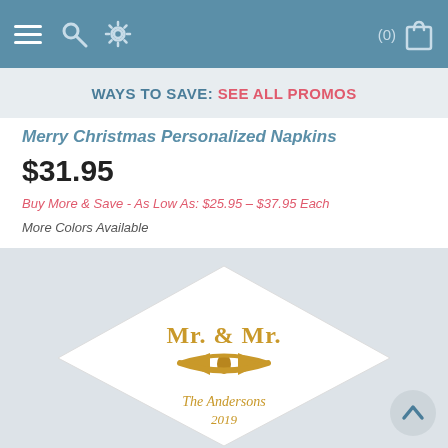(0)
WAYS TO SAVE: SEE ALL PROMOS
Merry Christmas Personalized Napkins
$31.95
Buy More & Save - As Low As: $25.95 – $37.95 Each
More Colors Available
[Figure (photo): A white folded napkin displayed as a diamond shape, printed with gold 'Mr. & Mr.' text and a gold bow tie graphic, along with 'The Andersons 2019' in gold text at the bottom.]